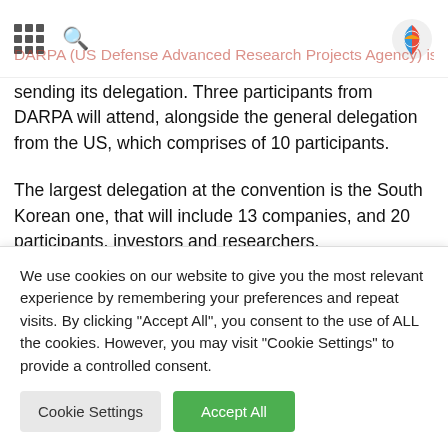DARPA (US Defense Advanced Research Projects Agency) is also...
sending its delegation. Three participants from DARPA will attend, alongside the general delegation from the US, which comprises of 10 participants.
The largest delegation at the convention is the South Korean one, that will include 13 companies, and 20 participants, investors and researchers.
Also will attend delegations from India (15 participants), China (7),
We use cookies on our website to give you the most relevant experience by remembering your preferences and repeat visits. By clicking "Accept All", you consent to the use of ALL the cookies. However, you may visit "Cookie Settings" to provide a controlled consent.